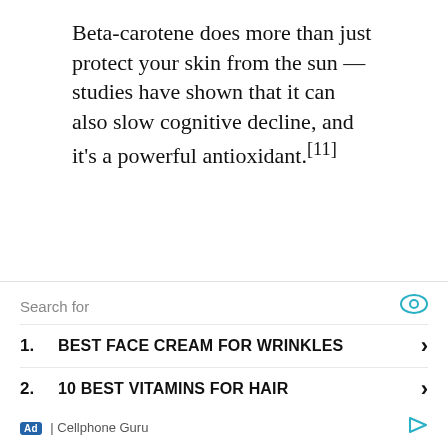Beta-carotene does more than just protect your skin from the sun — studies have shown that it can also slow cognitive decline, and it's a powerful antioxidant.[11]
Search for
1. BEST FACE CREAM FOR WRINKLES
2. 10 BEST VITAMINS FOR HAIR
Ad | Cellphone Guru